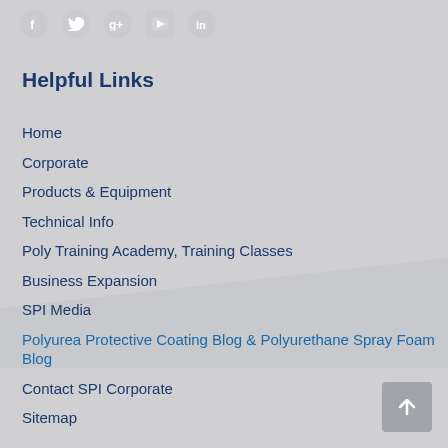[Figure (other): Social media icons row: Facebook, Twitter, Google+, YouTube, LinkedIn]
Helpful Links
Home
Corporate
Products & Equipment
Technical Info
Poly Training Academy, Training Classes
Business Expansion
SPI Media
Polyurea Protective Coating Blog & Polyurethane Spray Foam Blog
Contact SPI Corporate
Sitemap